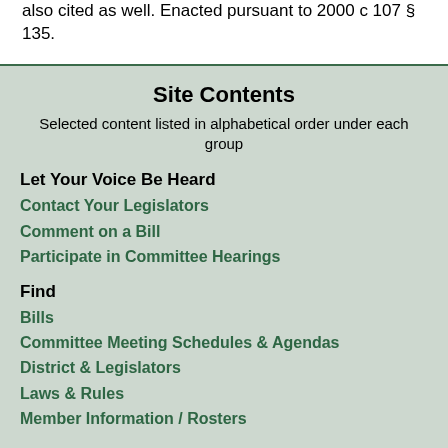also cited as well. Enacted pursuant to 2000 c 107 § 135.
Site Contents
Selected content listed in alphabetical order under each group
Let Your Voice Be Heard
Contact Your Legislators
Comment on a Bill
Participate in Committee Hearings
Find
Bills
Committee Meeting Schedules & Agendas
District & Legislators
Laws & Rules
Member Information / Rosters